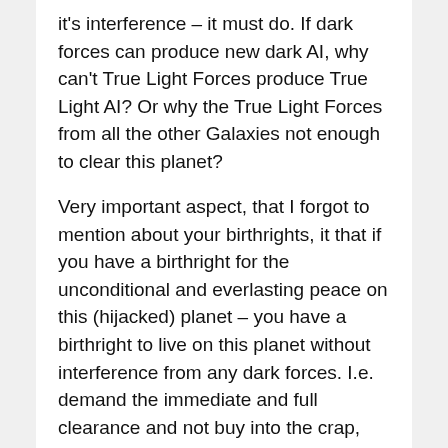it's interference – it must do. If dark forces can produce new dark AI, why can't True Light Forces produce True Light AI? Or why the True Light Forces from all the other Galaxies not enough to clear this planet?
Very important aspect, that I forgot to mention about your birthrights, it that if you have a birthright for the unconditional and everlasting peace on this (hijacked) planet – you have a birthright to live on this planet without interference from any dark forces. I.e. demand the immediate and full clearance and not buy into the crap, that it's not possible, not possible that fast… We were buying into that for millions of years and